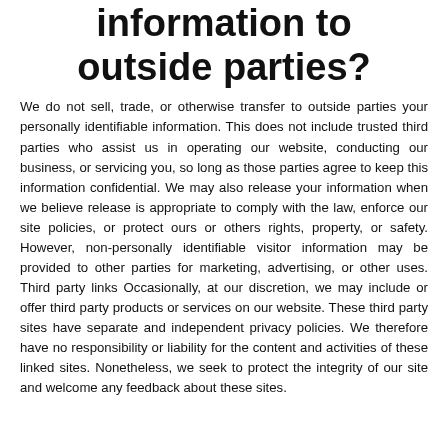information to outside parties?
We do not sell, trade, or otherwise transfer to outside parties your personally identifiable information. This does not include trusted third parties who assist us in operating our website, conducting our business, or servicing you, so long as those parties agree to keep this information confidential. We may also release your information when we believe release is appropriate to comply with the law, enforce our site policies, or protect ours or others rights, property, or safety. However, non-personally identifiable visitor information may be provided to other parties for marketing, advertising, or other uses. Third party links Occasionally, at our discretion, we may include or offer third party products or services on our website. These third party sites have separate and independent privacy policies. We therefore have no responsibility or liability for the content and activities of these linked sites. Nonetheless, we seek to protect the integrity of our site and welcome any feedback about these sites.